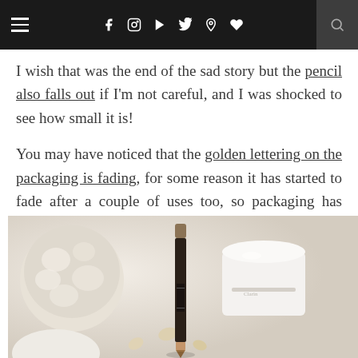≡  f  [instagram]  [youtube]  [twitter]  [pinterest]  [heart]  [search]
I wish that was the end of the sad story but the pencil also falls out if I'm not careful, and I was shocked to see how small it is!
You may have noticed that the golden lettering on the packaging is fading, for some reason it has started to fade after a couple of uses too, so packaging has failed quite a bit in quality this time.
[Figure (photo): A makeup pencil/eyeshadow stick standing upright on a white surface, with a white ceramic candle holder and decorative ornament in the background, and scattered small golden/cream colored petals around.]